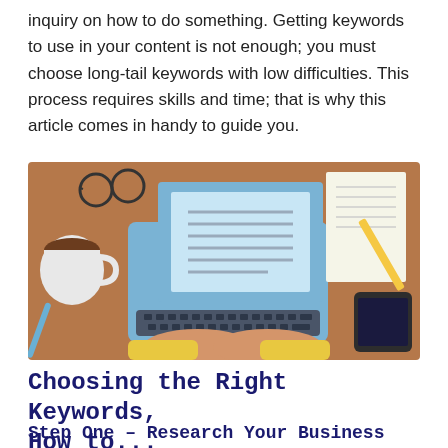inquiry on how to do something. Getting keywords to use in your content is not enough; you must choose long-tail keywords with low difficulties. This process requires skills and time; that is why this article comes in handy to guide you.
[Figure (illustration): Top-down illustration of a person typing on a laptop at a desk, with a coffee cup, glasses, pencil, notebook, and smartphone visible on the desk]
Choosing the Right Keywords, How to...
Step One – Research Your Business